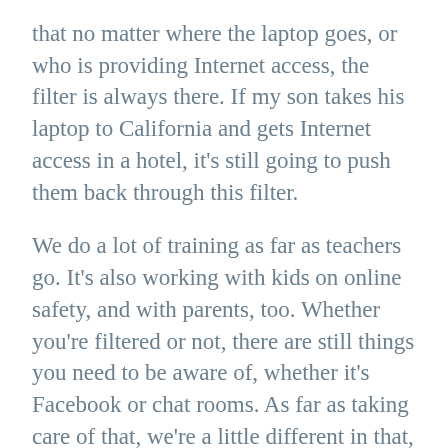that no matter where the laptop goes, or who is providing Internet access, the filter is always there. If my son takes his laptop to California and gets Internet access in a hotel, it's still going to push them back through this filter.
We do a lot of training as far as teachers go. It's also working with kids on online safety, and with parents, too. Whether you're filtered or not, there are still things you need to be aware of, whether it's Facebook or chat rooms. As far as taking care of that, we're a little different in that, while a lot of school systems have AUPs (acceptable use policies), we have what's known as a Required Use Policy. Our students pay a $50 insurance fee. If they're low income and they can't afford the fee,